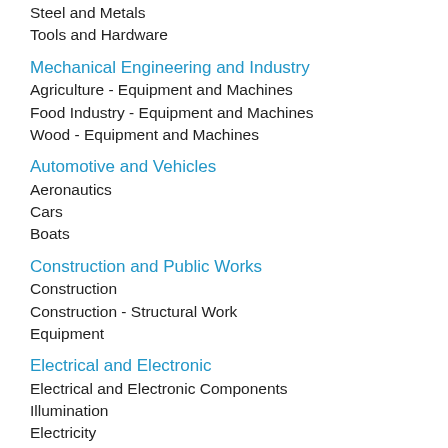Steel and Metals
Tools and Hardware
Mechanical Engineering and Industry
Agriculture - Equipment and Machines
Food Industry - Equipment and Machines
Wood - Equipment and Machines
Automotive and Vehicles
Aeronautics
Cars
Boats
Construction and Public Works
Construction
Construction - Structural Work
Equipment
Electrical and Electronic
Electrical and Electronic Components
Illumination
Electricity
Luxury and Leisure Products
Art and Entertainment